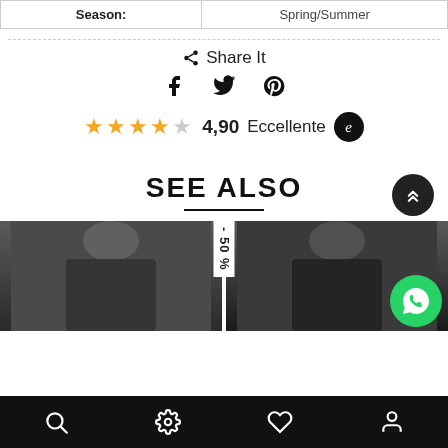| Season: | Spring/Summer |
Share It
[Figure (infographic): Social share icons: Facebook, Twitter, Pinterest]
★★★★☆ 4,90  Eccellente  e
SEE ALSO
[Figure (photo): Two product thumbnails (dark clothing), with -50% discount badge and WhatsApp button]
Bottom navigation bar with search, settings, heart, and profile icons